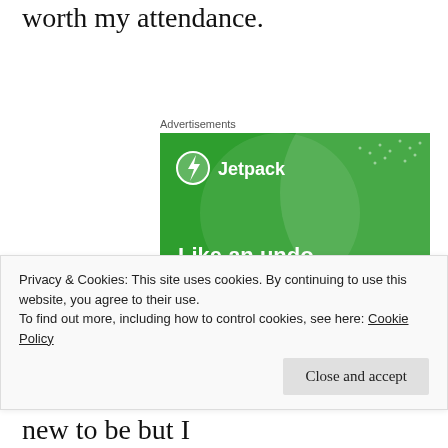worth my attendance.
[Figure (advertisement): Jetpack advertisement with green background showing logo and tagline 'Like an undo button for your WordPress site']
Privacy & Cookies: This site uses cookies. By continuing to use this website, you agree to their use.
To find out more, including how to control cookies, see here: Cookie Policy
Close and accept
Most of the information was not new to be but I